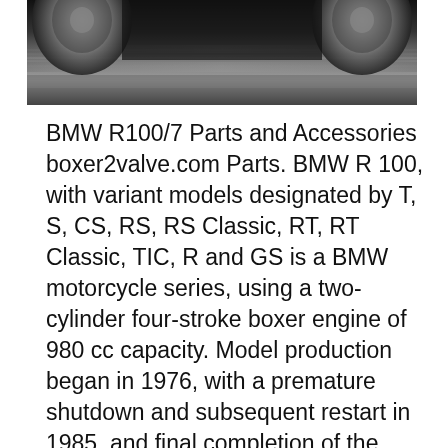[Figure (photo): Partial top view of a BMW motorcycle in motion with motion blur effect, showing two wheels on a dark background]
BMW R100/7 Parts and Accessories boxer2valve.com Parts. BMW R 100, with variant models designated by T, S, CS, RS, RS Classic, RT, RT Classic, TIC, R and GS is a BMW motorcycle series, using a two-cylinder four-stroke boxer engine of 980 cc capacity. Model production began in 1976, with a premature shutdown and subsequent restart in 1985, and final completion of the series in 1996., Download BMW R80 GS and R100 R Motorcycle Workshop Manual / Repair Manual / Service Manual download. Buy and Download